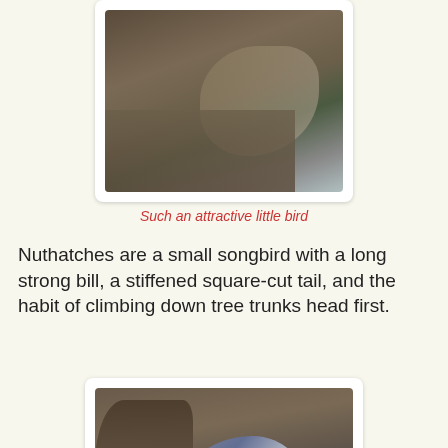[Figure (photo): Close-up photo of a bird (nuthatch) on a tree trunk or branch, viewed from above]
Such an attractive little bird
Nuthatches are a small songbird with a long strong bill, a stiffened square-cut tail, and the habit of climbing down tree trunks head first.
[Figure (photo): Photo of a white-breasted nuthatch climbing head-first down a tree trunk, showing its blue-gray back, black cap, and white underparts]